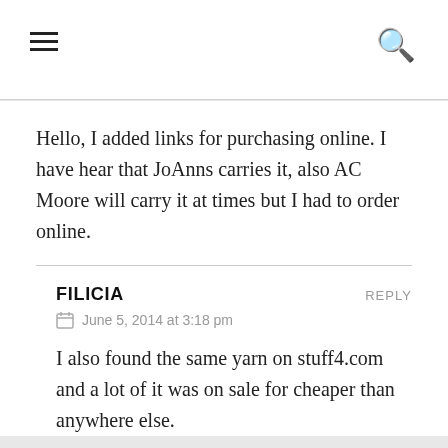Hello, I added links for purchasing online. I have hear that JoAnns carries it, also AC Moore will carry it at times but I had to order online.
FILICIA · REPLY · June 5, 2014 at 3:18 pm · I also found the same yarn on stuff4.com and a lot of it was on sale for cheaper than anywhere else.